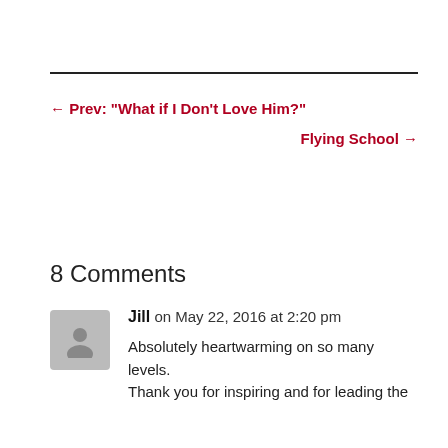← Prev: "What if I Don't Love Him?"
Flying School →
8 Comments
Jill on May 22, 2016 at 2:20 pm
Absolutely heartwarming on so many levels. Thank you for inspiring and for leading the